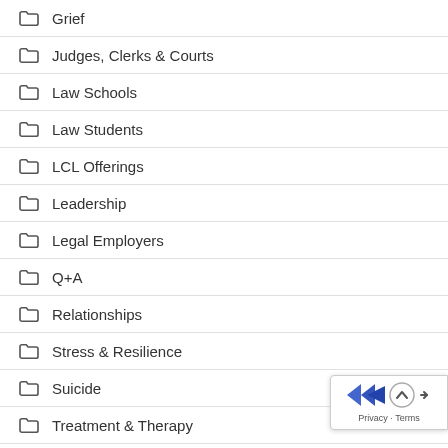Grief
Judges, Clerks & Courts
Law Schools
Law Students
LCL Offerings
Leadership
Legal Employers
Q+A
Relationships
Stress & Resilience
Suicide
Treatment & Therapy
Uncategorized
Well-Being